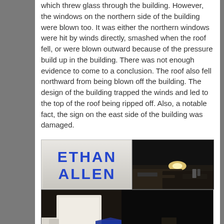which threw glass through the building. However, the windows on the northern side of the building were blown too. It was either the northern windows were hit by winds directly, smashed when the roof fell, or were blown outward because of the pressure build up in the building. There was not enough evidence to come to a conclusion. The roof also fell northward from being blown off the building. The design of the building trapped the winds and led to the top of the roof being ripped off. Also, a notable fact, the sign on the east side of the building was damaged.
[Figure (photo): Top-left photo showing the Ethan Allen store sign with blue letters on a light background]
[Figure (photo): Top-right photo showing debris and destruction at night with a light visible]
[Figure (photo): Bottom photo showing storm damage to the building at night, with blue awnings visible and structural damage]